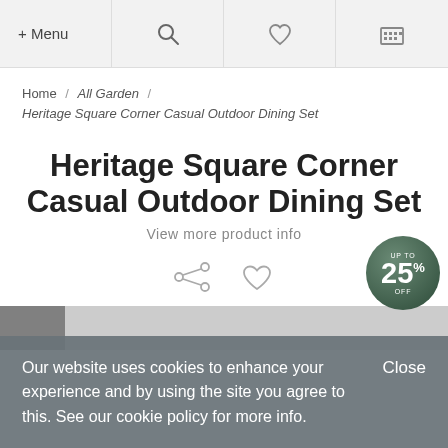+ Menu
Home / All Garden / Heritage Square Corner Casual Outdoor Dining Set
Heritage Square Corner Casual Outdoor Dining Set
View more product info
[Figure (illustration): Share icon and heart/wishlist icon]
[Figure (illustration): Up to 25% off circular badge in dark green]
Our website uses cookies to enhance your experience and by using the site you agree to this. See our cookie policy for more info.  Close